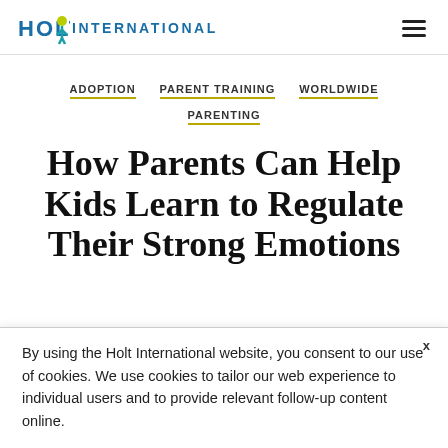HOLT INTERNATIONAL
ADOPTION   PARENT TRAINING   WORLDWIDE   PARENTING
How Parents Can Help Kids Learn to Regulate Their Strong Emotions
By using the Holt International website, you consent to our use of cookies. We use cookies to tailor our web experience to individual users and to provide relevant follow-up content online.